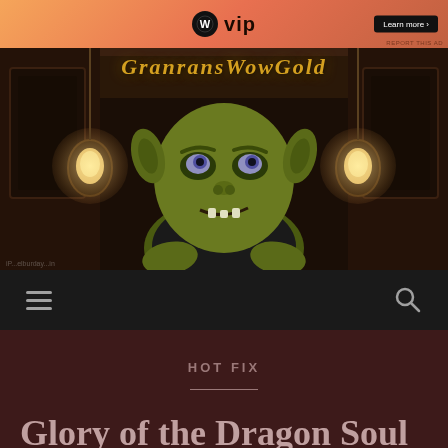[Figure (screenshot): WordPress VIP advertisement banner with orange gradient background, WP logo and 'vip' text, and a 'Learn more' button on the right]
[Figure (illustration): GranransWowGold website header banner featuring a goblin character illustration centered, with glowing lanterns on either side, dark wooden interior background, and site title 'GranransWowGold' in gold italic text at the top]
[Figure (screenshot): Dark navigation bar with hamburger menu icon on the left and search (magnifying glass) icon on the right]
HOT FIX
Glory of the Dragon Soul and Pandaria Raider Hotfixes